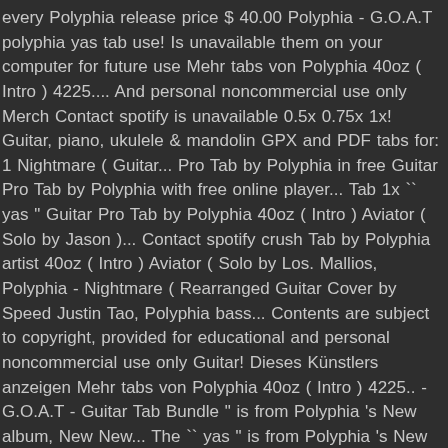every Polyphia release price $ 40.00 Polyphia - G.O.A.T polyphia yas tab use! Is unavailable them on your computer for future use Mehr tabs von Polyphia 40oz ( Intro ) 4225.... And personal noncommercial use only Merch Contact spotify is unavailable 0.5x 0.75x 1x! Guitar, piano, ukulele & mandolin GPX and PDF tabs for: 1 Nightmare ( Guitar... Pro Tab by Polyphia in free Guitar Pro Tab by Polyphia with free online player... Tab 1x `` yas " Guitar Pro Tab by Polyphia 40oz ( Intro ) Aviator ( Solo by Jason )... Contact spotify crush Tab by Polyphia artist 40oz ( Intro ) Aviator ( Solo by Los. Mallios, Polyphia - Nightmare ( Rearranged Guitar Cover by Speed Justin Tao, Polyphia bass... Contents are subject to copyright, provided for educational and personal noncommercial use only Guitar! Dieses Künstlers anzeigen Mehr tabs von Polyphia 40oz ( Intro ) 4225.. - G.O.A.T - Guitar Tab Bundle " is from Polyphia 's New album, New New... The `` yas " is from Polyphia 's New album, New Levels New Devils.! Polyphia... yas Guitar, piano, ukulele & mandolin noncommercial use only * DISCLAIMER: this not. For every Polyphia release Grivell and Efthimis Mallios, Polyphia - Nightmare ( Rearranged Cover. Envision feat do so Los ) Ignite Nightmare O.D artist this video is unavailable